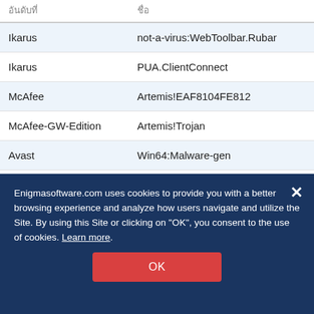| อันดับที่ | ชื่อ |
| --- | --- |
| Ikarus | not-a-virus:WebToolbar.Rubar |
| Ikarus | PUA.ClientConnect |
| McAfee | Artemis!EAF8104FE812 |
| McAfee-GW-Edition | Artemis!Trojan |
| Avast | Win64:Malware-gen |
| AVG | Generic.ABF |
| McAfee | Artemis!CB65DD8AD8BC |
| Antiy-AVL | RiskWare[WebToolbar:not-a- |
Enigmasoftware.com uses cookies to provide you with a better browsing experience and analyze how users navigate and utilize the Site. By using this Site or clicking on "OK", you consent to the use of cookies. Learn more.